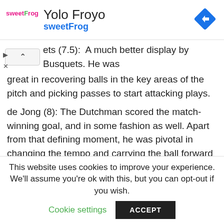[Figure (logo): sweetFrog logo with brand name Yolo Froyo and navigation icon (blue diamond with right arrow)]
ets (7.5): A much better display by Busquets. He was great in recovering balls in the key areas of the pitch and picking passes to start attacking plays.
de Jong (8): The Dutchman scored the match-winning goal, and in some fashion as well. Apart from that defining moment, he was pivotal in changing the tempo and carrying the ball forward during transitions.
Pedri (7.5): The 18-year-old had two fine chances to put the
This website uses cookies to improve your experience. We'll assume you're ok with this, but you can opt-out if you wish.
Cookie settings   ACCEPT